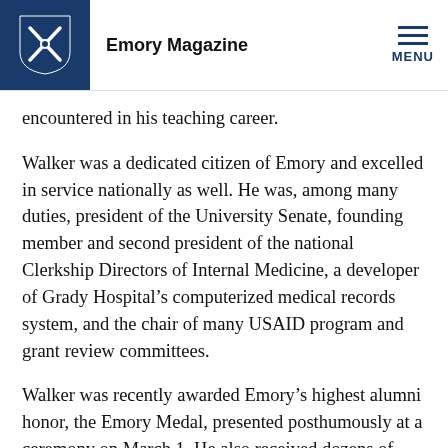Emory Magazine
encountered in his teaching career.
Walker was a dedicated citizen of Emory and excelled in service nationally as well. He was, among many duties, president of the University Senate, founding member and second president of the national Clerkship Directors of Internal Medicine, a developer of Grady Hospital’s computerized medical records system, and the chair of many USAID program and grant review committees.
Walker was recently awarded Emory’s highest alumni honor, the Emory Medal, presented posthumously at a ceremony on March 1. He also received dozens of other prestigious awards, including the Georgia Hospital Heroes Lifetime Achievement Award in 2016